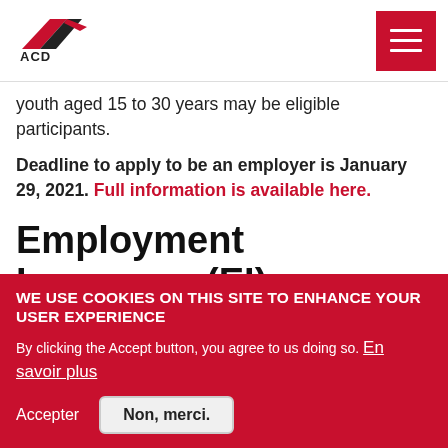ACD logo and navigation menu
youth aged 15 to 30 years may be eligible participants.
Deadline to apply to be an employer is January 29, 2021. Full information is available here.
Employment Insurance (EI) program
Update - The Government will be transitioning CERB to a
WE USE COOKIES ON THIS SITE TO ENHANCE YOUR USER EXPERIENCE
By clicking the Accept button, you agree to us doing so. En savoir plus
Accepter   Non, merci.